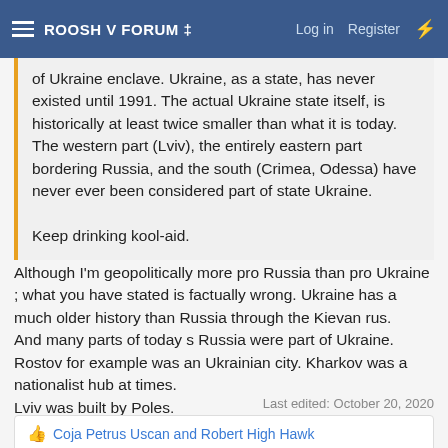ROOSH V FORUM ‡ | Log in | Register
of Ukraine enclave. Ukraine, as a state, has never existed until 1991. The actual Ukraine state itself, is historically at least twice smaller than what it is today. The western part (Lviv), the entirely eastern part bordering Russia, and the south (Crimea, Odessa) have never ever been considered part of state Ukraine.

Keep drinking kool-aid.
Although I'm geopolitically more pro Russia than pro Ukraine ; what you have stated is factually wrong. Ukraine has a much older history than Russia through the Kievan rus.
And many parts of today s Russia were part of Ukraine. Rostov for example was an Ukrainian city. Kharkov was a nationalist hub at times.
Lviv was built by Poles.
Last edited: October 20, 2020
👍 Coja Petrus Uscan and Robert High Hawk